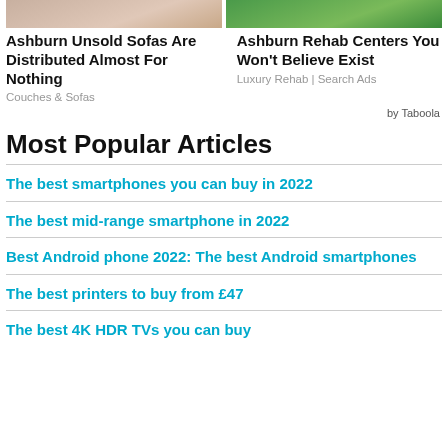[Figure (photo): Two advertisement images side by side: left shows a sofa/couch scene, right shows a rehab/garden scene]
Ashburn Unsold Sofas Are Distributed Almost For Nothing
Couches & Sofas
Ashburn Rehab Centers You Won't Believe Exist
Luxury Rehab | Search Ads
by Taboola
Most Popular Articles
The best smartphones you can buy in 2022
The best mid-range smartphone in 2022
Best Android phone 2022: The best Android smartphones
The best printers to buy from £47
The best 4K HDR TVs you can buy